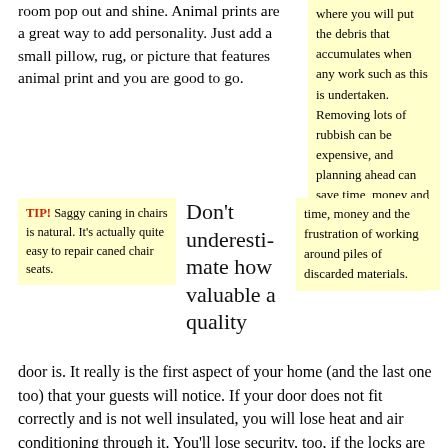room pop out and shine. Animal prints are a great way to add personality. Just add a small pillow, rug, or picture that features animal print and you are good to go.
where you will put the debris that accumulates when any work such as this is undertaken. Removing lots of rubbish can be expensive, and planning ahead can save time, money and the frustration of working around piles of discarded materials.
TIP! Saggy caning in chairs is natural. It's actually quite easy to repair caned chair seats.
Don't underestimate how valuable a quality
door is. It really is the first aspect of your home (and the last one too) that your guests will notice. If your door does not fit correctly and is not well insulated, you will lose heat and air conditioning through it. You'll lose security, too, if the locks are poor quality or the frame is not solid.